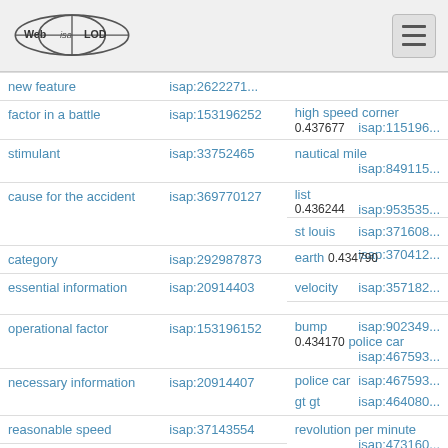WebIsaLOD logo and navigation
| Concept | ID | Related / Score | ID2 |
| --- | --- | --- | --- |
| new feature (partial) | isap:2622271... |  |  |
| factor in a battle | isap:153196252 | high speed corner
0.437677 | isap:115196... |
| stimulant | isap:33752465 | nautical mile | isap:849115... |
| cause for the accident | isap:369770127 | list
0.436244
st louis | isap:953535...
isap:371608... |
| category | isap:292987873 | earth
0.434790 | isap:370412... |
| essential information | isap:20914403 | velocity | isap:357182... |
| operational factor | isap:153196152 | bump
0.434170
police car | isap:902349...
isap:467593... |
| necessary information | isap:20914407 | gt gt | isap:464080... |
| reasonable speed | isap:37143554 | revolution per minute | isap:473160... |
| movement | isap:20914417 |  |  |